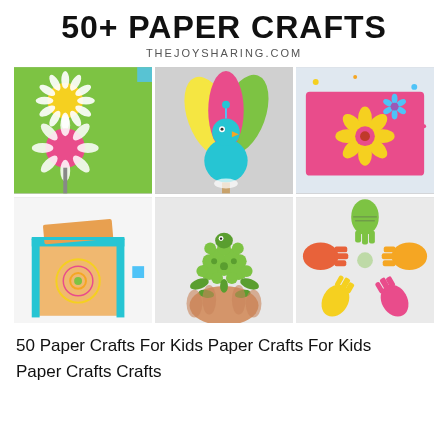50+ PAPER CRAFTS
THEJOYSHARING.COM
[Figure (photo): 6-image grid collage of paper crafts for kids: paper flower on green background, handprint peacock puppet, pink paper card with flower, blue paper box, green pom-pom turtle in hand, colorful handprint cutouts arranged in a circle]
50 Paper Crafts For Kids Paper Crafts For Kids Paper Crafts Crafts